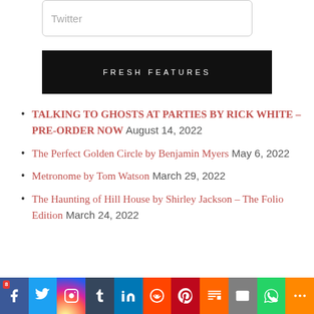Twitter
FRESH FEATURES
TALKING TO GHOSTS AT PARTIES BY RICK WHITE – PRE-ORDER NOW August 14, 2022
The Perfect Golden Circle by Benjamin Myers May 6, 2022
Metronome by Tom Watson March 29, 2022
The Haunting of Hill House by Shirley Jackson – The Folio Edition March 24, 2022